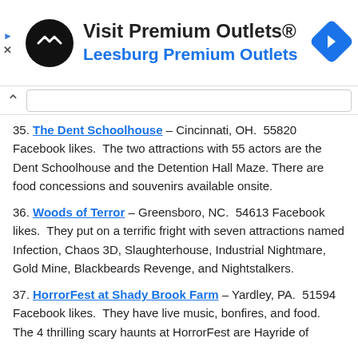[Figure (infographic): Advertisement banner for Visit Premium Outlets / Leesburg Premium Outlets with logo and navigation icon]
35. The Dent Schoolhouse – Cincinnati, OH.  55820 Facebook likes.  The two attractions with 55 actors are the Dent Schoolhouse and the Detention Hall Maze. There are food concessions and souvenirs available onsite.
36. Woods of Terror – Greensboro, NC.  54613 Facebook likes.  They put on a terrific fright with seven attractions named Infection, Chaos 3D, Slaughterhouse, Industrial Nightmare, Gold Mine, Blackbeards Revenge, and Nightstalkers.
37. HorrorFest at Shady Brook Farm – Yardley, PA.  51594 Facebook likes.  They have live music, bonfires, and food.  The 4 thrilling scary haunts at HorrorFest are Hayride of